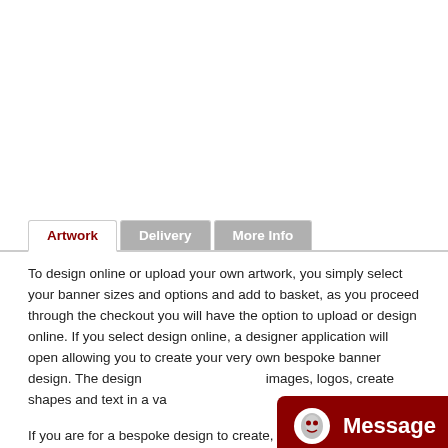Artwork | Delivery | More Info (tabs)
To design online or upload your own artwork, you simply select your banner sizes and options and add to basket, as you proceed through the checkout you will have the option to upload or design online. If you select design online, a designer application will open allowing you to create your very own bespoke banner design. The design images, logos, create shapes and text in a va
[Figure (other): Dark red Message button with alien/face icon]